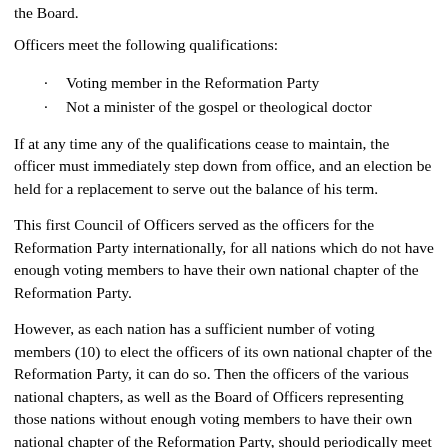the Board.
Officers meet the following qualifications:
Voting member in the Reformation Party
Not a minister of the gospel or theological doctor
If at any time any of the qualifications cease to maintain, the officer must immediately step down from office, and an election be held for a replacement to serve out the balance of his term.
This first Council of Officers served as the officers for the Reformation Party internationally, for all nations which do not have enough voting members to have their own national chapter of the Reformation Party.
However, as each nation has a sufficient number of voting members (10) to elect the officers of its own national chapter of the Reformation Party, it can do so.  Then the officers of the various national chapters, as well as the Board of Officers representing those nations without enough voting members to have their own national chapter of the Reformation Party, should periodically meet in a congress of national chapters of the Reformation Party, to confer and coordinate the policies of the Reformation Party.